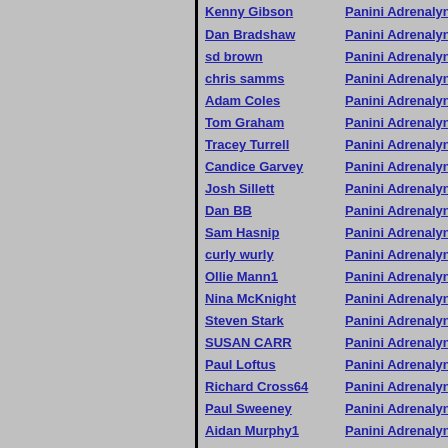Kenny Gibson | Panini Adrenalyn XL Premier League
Dan Bradshaw | Panini Adrenalyn XL Premier League
sd brown | Panini Adrenalyn XL Premier League
chris samms | Panini Adrenalyn XL Premier League
Adam Coles | Panini Adrenalyn XL Premier League
Tom Graham | Panini Adrenalyn XL Premier League
Tracey Turrell | Panini Adrenalyn XL Premier League
Candice Garvey | Panini Adrenalyn XL Premier League
Josh Sillett | Panini Adrenalyn XL Premier League
Dan BB | Panini Adrenalyn XL Premier League
Sam Hasnip | Panini Adrenalyn XL Premier League
curly wurly | Panini Adrenalyn XL Premier League
Ollie Mann1 | Panini Adrenalyn XL Premier League
Nina McKnight | Panini Adrenalyn XL Premier League
Steven Stark | Panini Adrenalyn XL Premier League
SUSAN CARR | Panini Adrenalyn XL Premier League
Paul Loftus | Panini Adrenalyn XL Premier League
Richard Cross64 | Panini Adrenalyn XL Premier League
Paul Sweeney | Panini Adrenalyn XL Premier League
Aidan Murphy1 | Panini Adrenalyn XL Premier League
David Sharpe | Panini Adrenalyn XL Premier League